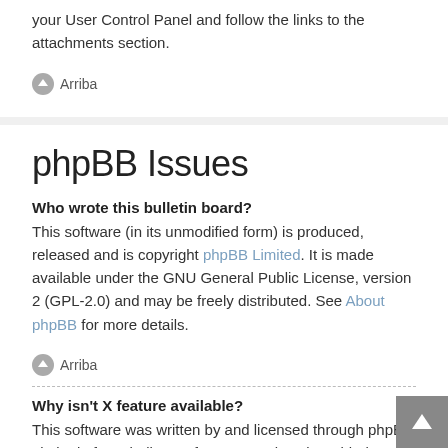To find your list of attachments that you have uploaded, go to your User Control Panel and follow the links to the attachments section.
Arriba
phpBB Issues
Who wrote this bulletin board?
This software (in its unmodified form) is produced, released and is copyright phpBB Limited. It is made available under the GNU General Public License, version 2 (GPL-2.0) and may be freely distributed. See About phpBB for more details.
Arriba
Why isn't X feature available?
This software was written by and licensed through phpBB Limited. If you believe a feature needs to be added please visit the phpBB Ideas Centre, where you can upvote existing ideas or suggest new features.